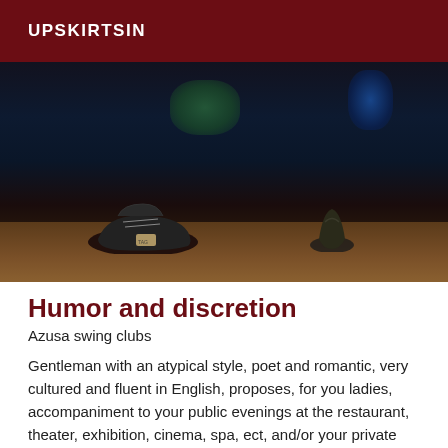UPSKIRTSIN
[Figure (photo): Dark photo showing shoes/feet on a wooden floor with dark background]
Humor and discretion
Azusa swing clubs
Gentleman with an atypical style, poet and romantic, very cultured and fluent in English, proposes, for you ladies, accompaniment to your public evenings at the restaurant, theater, exhibition, cinema, spa, ect, and/or your private parties, at the hotel of your choice or at your